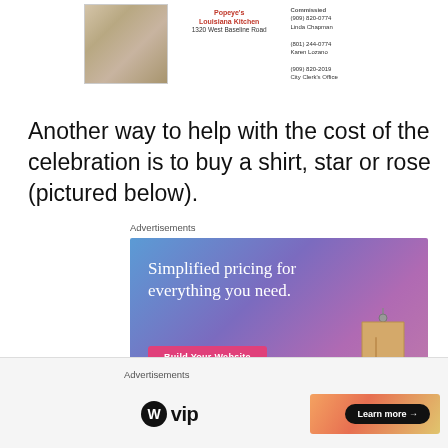[Figure (screenshot): Partial screenshot of a business listing card showing Popeye's Louisiana Kitchen at 1320 West Baseline Road with contact numbers and a food photo, alongside city contact info including Linda Chapman and Karen Lozano phone numbers and City Clerk's Office.]
Another way to help with the cost of the celebration is to buy a shirt, star or rose (pictured below).
Advertisements
[Figure (screenshot): Advertisement banner for website building service with blue-purple gradient background, text 'Simplified pricing for everything you need.' and a pink 'Build Your Website' button, with a price tag illustration on the right.]
[Figure (screenshot): Bottom advertisement bar showing WordPress VIP logo on the left and a 'Learn more →' button on an orange gradient background on the right.]
Advertisements